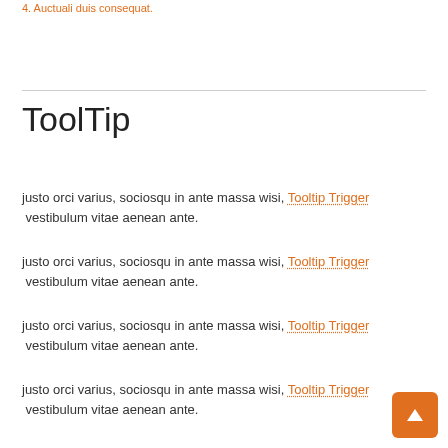4. Auctuali duis consequat.
ToolTip
justo orci varius, sociosqu in ante massa wisi, Tooltip Trigger vestibulum vitae aenean ante.
justo orci varius, sociosqu in ante massa wisi, Tooltip Trigger vestibulum vitae aenean ante.
justo orci varius, sociosqu in ante massa wisi, Tooltip Trigger vestibulum vitae aenean ante.
justo orci varius, sociosqu in ante massa wisi, Tooltip Trigger vestibulum vitae aenean ante.